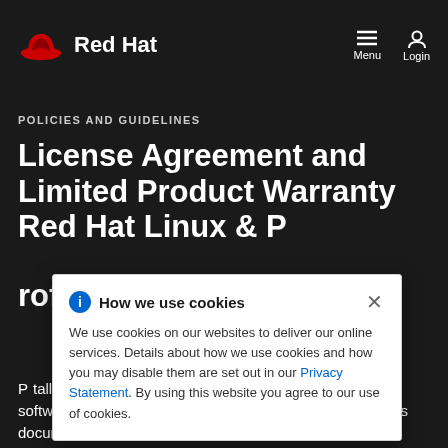Red Hat — Menu | Login
POLICIES AND GUIDELINES
License Agreement and Limited Product Warranty Red Hat Linux & Professional Edition
How we use cookies — We use cookies on our websites to deliver our online services. Details about how we use cookies and how you may disable them are set out in our Privacy Statement. By using this website you agree to our use of cookies.
P... talling Red Hat™ Linux™, any of its packages, or any software included with this product, on your computer. This document